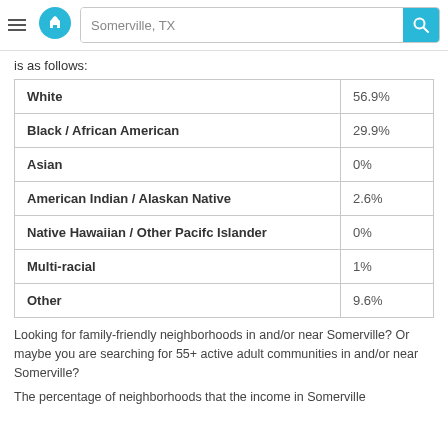Somerville, TX
is as follows:
|  |  |
| --- | --- |
| White | 56.9% |
| Black / African American | 29.9% |
| Asian | 0% |
| American Indian / Alaskan Native | 2.6% |
| Native Hawaiian / Other Pacifc Islander | 0% |
| Multi-racial | 1% |
| Other | 9.6% |
Looking for family-friendly neighborhoods in and/or near Somerville? Or maybe you are searching for 55+ active adult communities in and/or near Somerville?
The percentage of neighborhoods that the income in Somerville